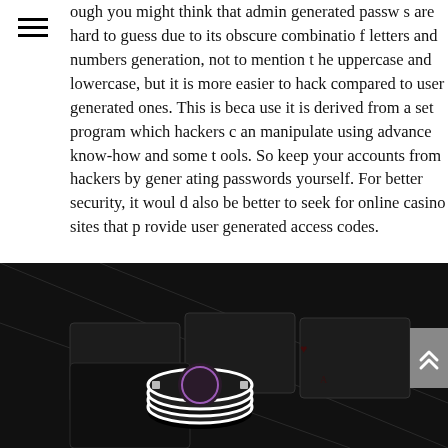ough you might think that admin generated passwords are hard to guess due to its obscure combination of letters and numbers generation, not to mention the uppercase and lowercase, but it is more easier to hack compared to user generated ones. This is because it is derived from a set program which hackers can manipulate using advance know-how and some tools. So keep your accounts from hackers by generating passwords yourself. For better security, it would also be better to seek for online casino sites that provide user generated access codes.
[Figure (photo): Close-up photo of black and white poker chips stacked on a dark casino card table with playing cards visible underneath]